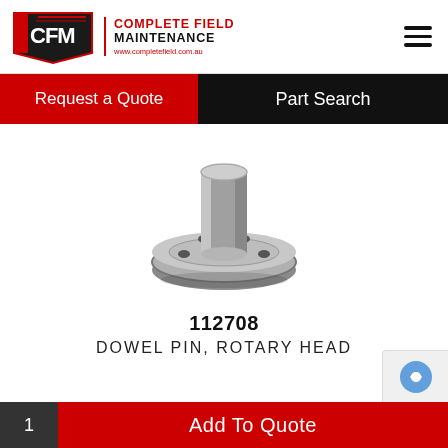Complete Field Maintenance — www.completefield.com.au
Request a Quote | Part Search
[Figure (photo): Metallic dowel pin / flange component (rotary head part 112708) — cylindrical shaft atop a circular flanged base with bolt holes, machined steel finish]
112708
DOWEL PIN, ROTARY HEAD
1  Add To Quote